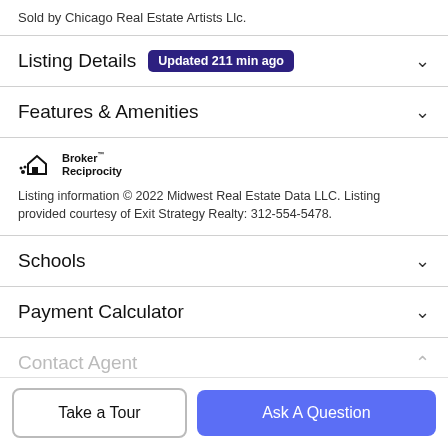Sold by Chicago Real Estate Artists Llc.
Listing Details  Updated 211 min ago
Features & Amenities
[Figure (logo): Broker Reciprocity logo with house icon]
Listing information © 2022 Midwest Real Estate Data LLC. Listing provided courtesy of Exit Strategy Realty: 312-554-5478.
Schools
Payment Calculator
Contact Agent
Take a Tour
Ask A Question